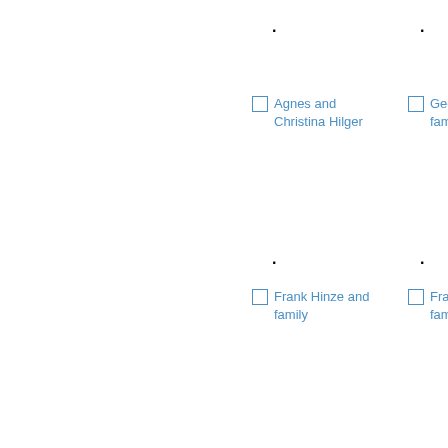Agnes and Christina Hilger
Geo... fam...
Frank Hinze and family
Fra... fam...